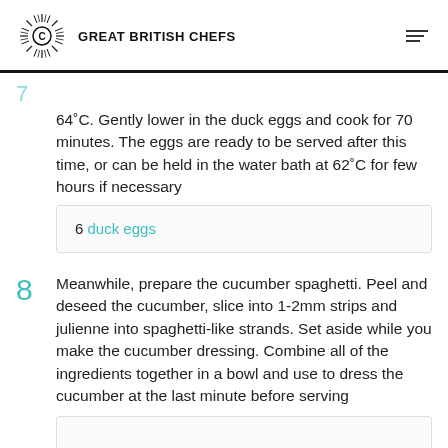GREAT BRITISH CHEFS
64˚C. Gently lower in the duck eggs and cook for 70 minutes. The eggs are ready to be served after this time, or can be held in the water bath at 62˚C for few hours if necessary
6 duck eggs
Meanwhile, prepare the cucumber spaghetti. Peel and deseed the cucumber, slice into 1-2mm strips and julienne into spaghetti-like strands. Set aside while you make the cucumber dressing. Combine all of the ingredients together in a bowl and use to dress the cucumber at the last minute before serving